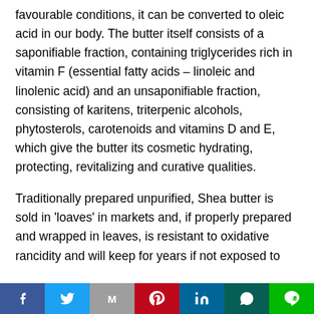favourable conditions, it can be converted to oleic acid in our body. The butter itself consists of a saponifiable fraction, containing triglycerides rich in vitamin F (essential fatty acids – linoleic and linolenic acid) and an unsaponifiable fraction, consisting of karitens, triterpenic alcohols, phytosterols, carotenoids and vitamins D and E, which give the butter its cosmetic hydrating, protecting, revitalizing and curative qualities.
Traditionally prepared unpurified, Shea butter is sold in 'loaves' in markets and, if properly prepared and wrapped in leaves, is resistant to oxidative rancidity and will keep for years if not exposed to